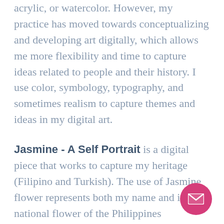acrylic, or watercolor. However, my practice has moved towards conceptualizing and developing art digitally, which allows me more flexibility and time to capture ideas related to people and their history. I use color, symbology, typography, and sometimes realism to capture themes and ideas in my digital art.
Jasmine - A Self Portrait is a digital piece that works to capture my heritage (Filipino and Turkish). The use of Jasmine flower represents both my name and is the national flower of the Philippines (Sampaguita). The textured background combines symbology found in famous Turkish and Filipino